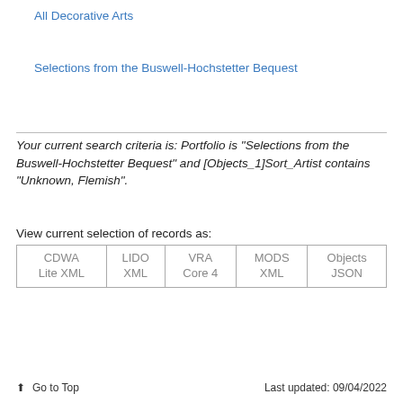All Decorative Arts
Selections from the Buswell-Hochstetter Bequest
Your current search criteria is: Portfolio is "Selections from the Buswell-Hochstetter Bequest" and [Objects_1]Sort_Artist contains "Unknown, Flemish".
View current selection of records as:
| CDWA Lite XML | LIDO XML | VRA Core 4 | MODS XML | Objects JSON |
Go to Top   Last updated: 09/04/2022